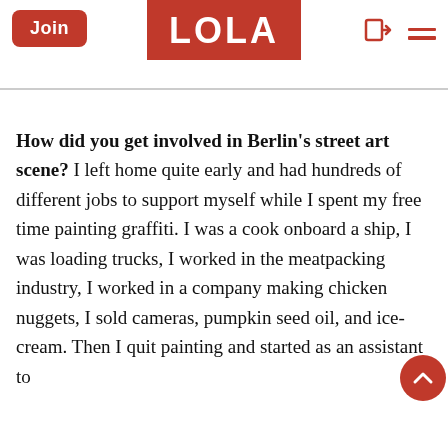Join | LOLA
How did you get involved in Berlin's street art scene? I left home quite early and had hundreds of different jobs to support myself while I spent my free time painting graffiti. I was a cook onboard a ship, I was loading trucks, I worked in the meatpacking industry, I worked in a company making chicken nuggets, I sold cameras, pumpkin seed oil, and ice-cream. Then I quit painting and started as an assistant to